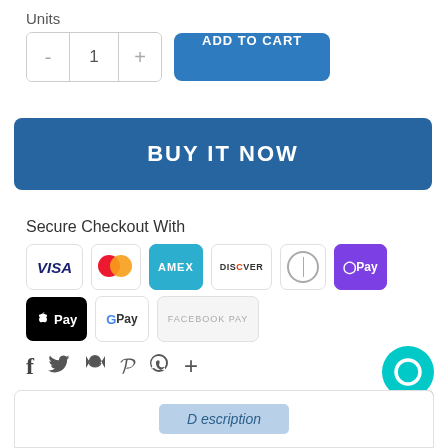Units
[Figure (screenshot): Quantity selector with minus, 1, plus buttons and ADD TO CART blue button]
[Figure (screenshot): BUY IT NOW blue button]
Secure Checkout With
[Figure (screenshot): Payment method icons: VISA, Mastercard, AMEX, DISCOVER, Diners Club, O Pay, Apple Pay, Google Pay, Facebook Pay]
[Figure (screenshot): Social share icons: Facebook, Twitter, Email, Pinterest, WhatsApp, Plus]
[Figure (screenshot): Chat bubble button (cyan) and scroll-to-top button]
[Figure (screenshot): Description tab at the bottom of the page]